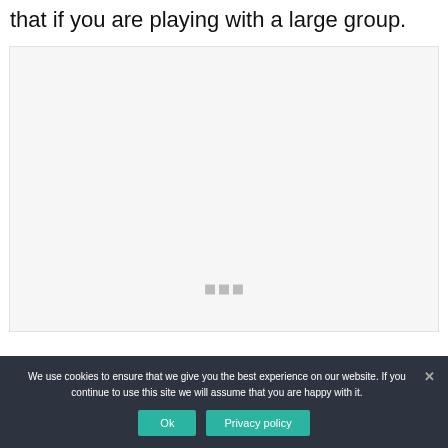that if you are playing with a large group.
[Figure (other): A light gray placeholder image area with three small gray square dots near the bottom center, indicating a loading or carousel image.]
We use cookies to ensure that we give you the best experience on our website. If you continue to use this site we will assume that you are happy with it.
Ok
Privacy policy